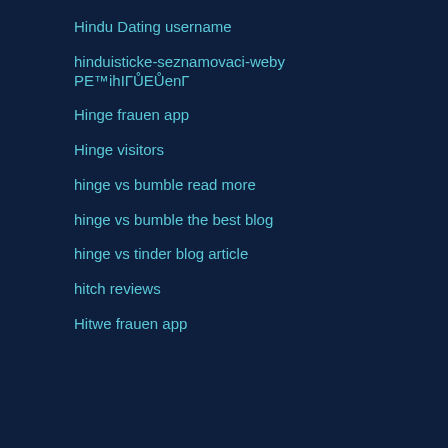Hindu Dating username
hinduisticke-seznamovaci-weby PE™ihIГŮEŮenГ
Hinge frauen app
Hinge visitors
hinge vs bumble read more
hinge vs bumble the best blog
hinge vs tinder blog article
hitch reviews
Hitwe frauen app